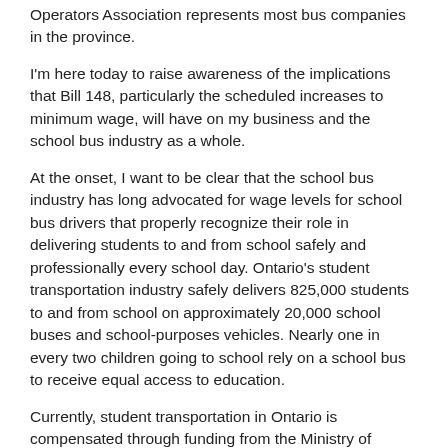Operators Association represents most bus companies in the province.
I'm here today to raise awareness of the implications that Bill 148, particularly the scheduled increases to minimum wage, will have on my business and the school bus industry as a whole.
At the onset, I want to be clear that the school bus industry has long advocated for wage levels for school bus drivers that properly recognize their role in delivering students to and from school safely and professionally every school day. Ontario's student transportation industry safely delivers 825,000 students to and from school on approximately 20,000 school buses and school-purposes vehicles. Nearly one in every two children going to school rely on a school bus to receive equal access to education.
Currently, student transportation in Ontario is compensated through funding from the Ministry of Education to the school boards. School boards disseminate this funding to 34